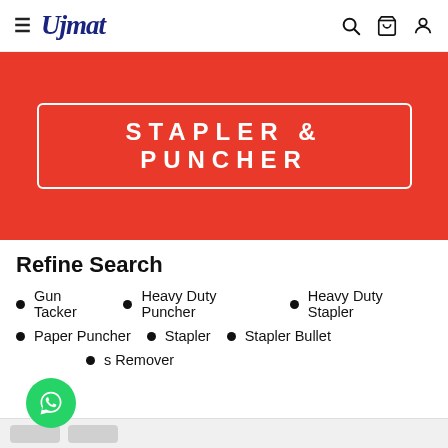Ujmat — navigation header with hamburger menu, logo, search, cart, and user icons
[Figure (other): Red banner with white bordered box containing text STAPLER & PUNCHER in white capital letters]
Refine Search
Gun Tacker
Heavy Duty Puncher
Heavy Duty Stapler
Paper Puncher
Stapler
Stapler Bullet
Staples Remover